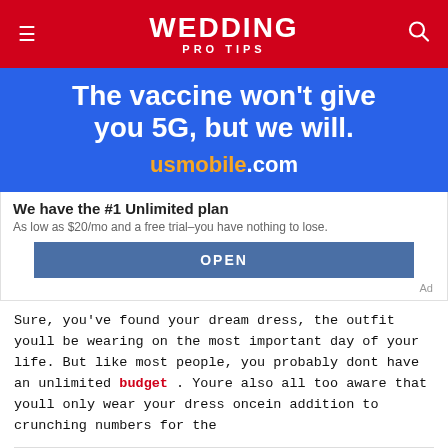WEDDING PRO TIPS
[Figure (infographic): Advertisement banner: blue background with white bold text 'The vaccine won't give you 5G, but we will.' and URL 'usmobile.com' with orange 'usmobile' and white '.com'. Below: white section with title 'We have the #1 Unlimited plan', subtitle 'As low as $20/mo and a free trial–you have nothing to lose.', and a blue OPEN button. Ad label in bottom right.]
Sure, you've found your dream dress, the outfit youll be wearing on the most important day of your life. But like most people, you probably dont have an unlimited budget . Youre also all too aware that youll only wear your dress oncein addition to crunching numbers for the
[Figure (infographic): Dyson advertisement: 'Visit Us at Tyson's Corner / Dyson Demo Store' with Dyson logo, play and X icons, and a blue diamond arrow icon on the right.]